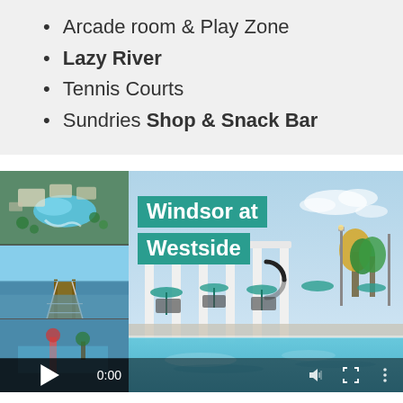Arcade room & Play Zone
Lazy River
Tennis Courts
Sundries Shop & Snack Bar
[Figure (photo): Video/photo gallery grid showing Windsor at Westside resort. Left column has three thumbnails: aerial view of pool complex, dock/pier over lake, and video player thumbnail with play button and 0:00 timer. Right main panel shows resort pool area with white pergola structure, teal umbrella-covered cabanas, and pool deck. Windsor at Westside label in teal banner overlay. Main image has loading spinner and video controls.]